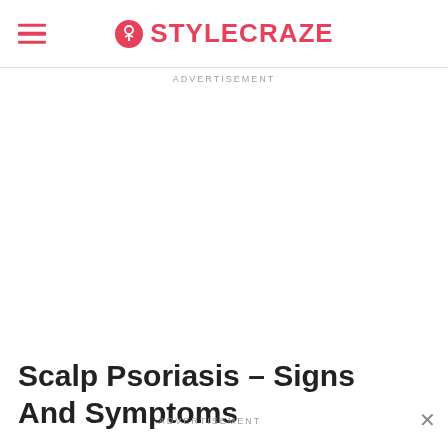STYLECRAZE
ADVERTISEMENT
Scalp Psoriasis – Signs And Symptoms
ADVERTISEMENT